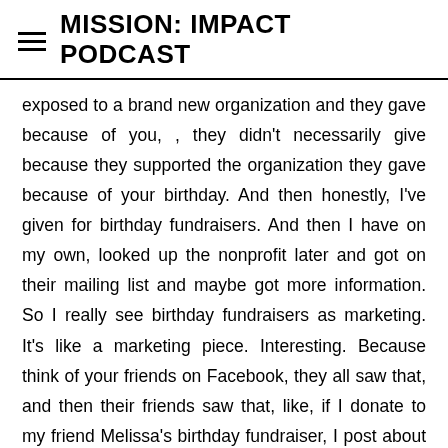MISSION: IMPACT PODCAST
exposed to a brand new organization and they gave because of you, , they didn't necessarily give because they supported the organization they gave because of your birthday. And then honestly, I've given for birthday fundraisers. And then I have on my own, looked up the nonprofit later and got on their mailing list and maybe got more information. So I really see birthday fundraisers as marketing. It's like a marketing piece. Interesting. Because think of your friends on Facebook, they all saw that, and then their friends saw that, like, if I donate to my friend Melissa's birthday fundraiser, I post about it and then